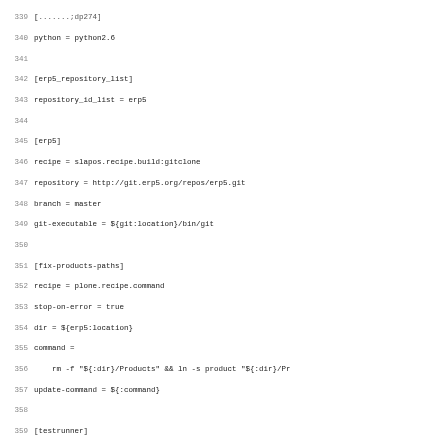Code block lines 340-371 showing configuration file content for erp5_repository_list, erp5, fix-products-paths, and testrunner sections